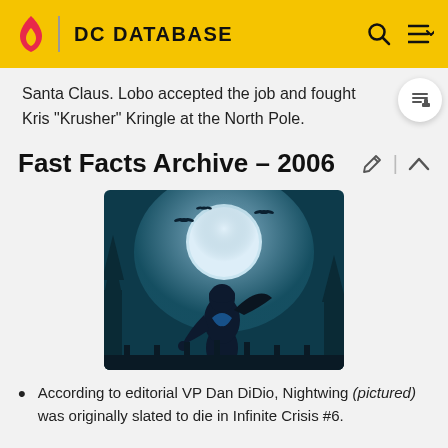DC DATABASE
Santa Claus. Lobo accepted the job and fought Kris "Krusher" Kringle at the North Pole.
Fast Facts Archive – 2006
[Figure (illustration): Comic book illustration of Nightwing in a black suit crouching against a moonlit night sky with bats]
According to editorial VP Dan DiDio, Nightwing (pictured) was originally slated to die in Infinite Crisis #6.